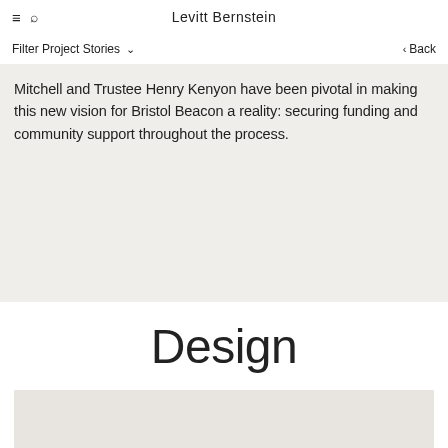≡  🔍   Levitt Bernstein
Filter Project Stories ∨   < Back
Mitchell and Trustee Henry Kenyon have been pivotal in making this new vision for Bristol Beacon a reality: securing funding and community support throughout the process.
Design
[Figure (photo): Photograph placeholder / image area at bottom of page]